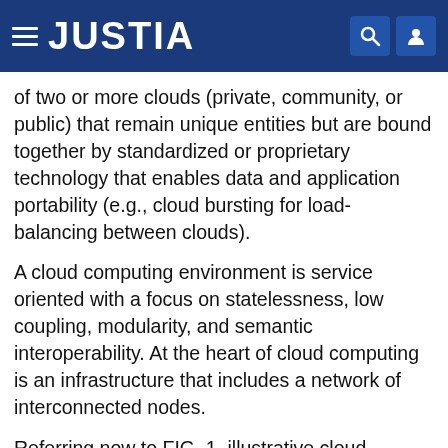JUSTIA
of two or more clouds (private, community, or public) that remain unique entities but are bound together by standardized or proprietary technology that enables data and application portability (e.g., cloud bursting for load-balancing between clouds).
A cloud computing environment is service oriented with a focus on statelessness, low coupling, modularity, and semantic interoperability. At the heart of cloud computing is an infrastructure that includes a network of interconnected nodes.
Referring now to FIG. 1, illustrative cloud computing environment 50 is depicted. As shown, cloud computing environment 50 includes one or more cloud computing nodes 10 with which local computing devices used by cloud consumers, such as, for example, personal digital